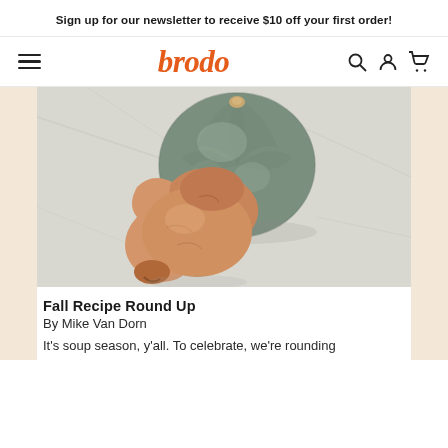Sign up for our newsletter to receive $10 off your first order!
[Figure (logo): Brodo website navigation bar with hamburger menu, 'brodo' logo in orange italic, and search/account/cart icons]
[Figure (photo): Overhead photo of a round green-grey kabocha squash and a butternut squash on a light marble surface]
Fall Recipe Round Up
By Mike Van Dorn
It's soup season, y'all. To celebrate, we're rounding